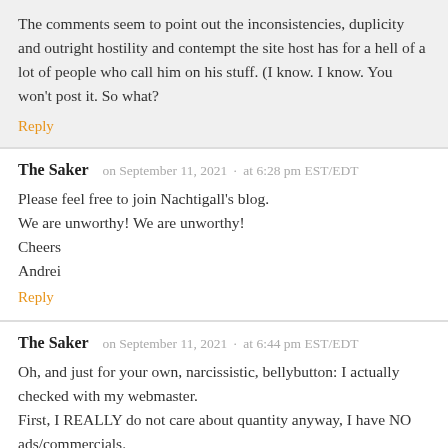The comments seem to point out the inconsistencies, duplicity and outright hostility and contempt the site host has for a hell of a lot of people who call him on his stuff. (I know. I know. You won't post it. So what?
Reply
The Saker   on September 11, 2021  ·  at 6:28 pm EST/EDT
Please feel free to join Nachtigall's blog.
We are unworthy! We are unworthy!
Cheers
Andrei
Reply
The Saker   on September 11, 2021  ·  at 6:44 pm EST/EDT
Oh, and just for your own, narcissistic, bellybutton: I actually checked with my webmaster.
First, I REALLY do not care about quantity anyway, I have NO ads/commercials.
Second, the fact is that traffic has stayed very stable, no